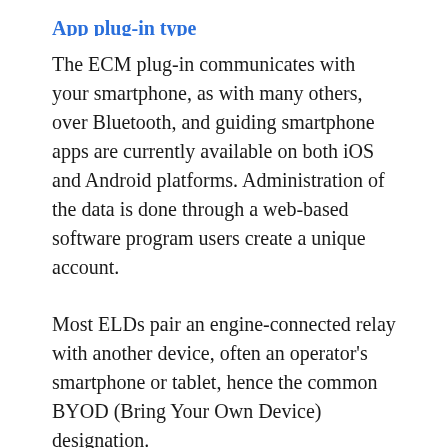App plug-in type
The ECM plug-in communicates with your smartphone, as with many others, over Bluetooth, and guiding smartphone apps are currently available on both iOS and Android platforms. Administration of the data is done through a web-based software program users create a unique account.
Most ELDs pair an engine-connected relay with another device, often an operator’s smartphone or tablet, hence the common BYOD (Bring Your Own Device) designation.
For such devices, some contain a cellular connection within the engine-connected relay,